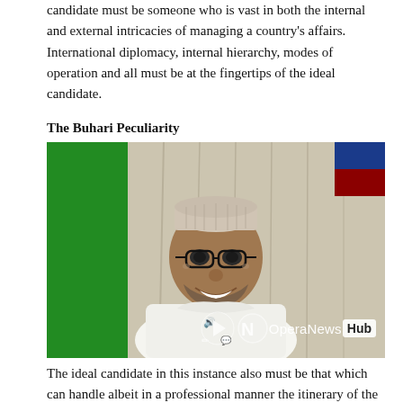candidate must be someone who is vast in both the internal and external intricacies of managing a country's affairs. International diplomacy, internal hierarchy, modes of operation and all must be at the fingertips of the ideal candidate.
The Buhari Peculiarity
[Figure (photo): Photo of President Buhari smiling, wearing a white traditional outfit and cap, with Nigerian flag in background. OperaNewsHub watermark visible.]
The ideal candidate in this instance also must be that which can handle albeit in a professional manner the itinerary of the President. The scenario here is quite peculiar as President Buhari is a man that apparently will not be bothered about a lot of the paper work and intricacies of many political issues as regards